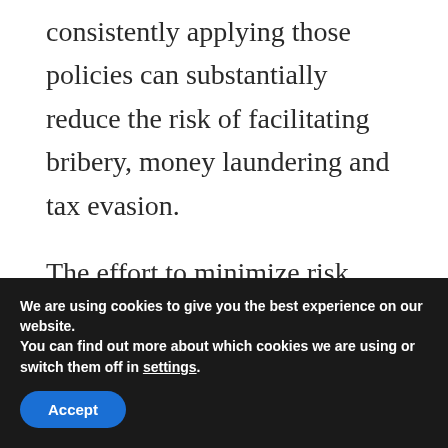consistently applying those policies can substantially reduce the risk of facilitating bribery, money laundering and tax evasion.
The effort to minimize risk often drives corporate transactions and the creation of distinct corporate entities. But many FCPA cases are not really about bribery at all. They are often “controls” cases. Law enforcement is going to try to ascribe knowledge no matter what steps you
We are using cookies to give you the best experience on our website.
You can find out more about which cookies we are using or switch them off in settings.
Accept